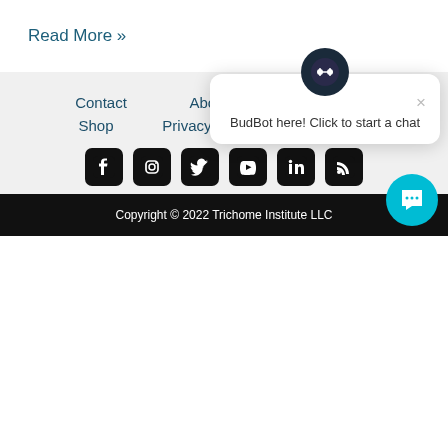Read More »
Contact
About
News & Media
Shop
Privacy Policy
Terms of Use
[Figure (infographic): Social media icons row: Facebook, Instagram, Twitter, YouTube, LinkedIn, RSS feed]
[Figure (infographic): BudBot chat popup with avatar icon, close button, and message: BudBot here! Click to start a chat]
Copyright © 2022 Trichome Institute LLC